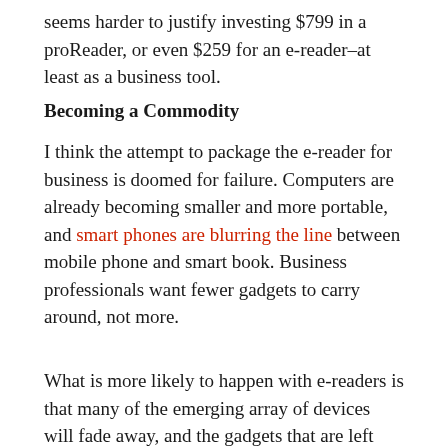seems harder to justify investing $799 in a proReader, or even $259 for an e-reader–at least as a business tool.
Becoming a Commodity
I think the attempt to package the e-reader for business is doomed for failure. Computers are already becoming smaller and more portable, and smart phones are blurring the line between mobile phone and smart book. Business professionals want fewer gadgets to carry around, not more.
What is more likely to happen with e-readers is that many of the emerging array of devices will fade away, and the gadgets that are left will become consumer